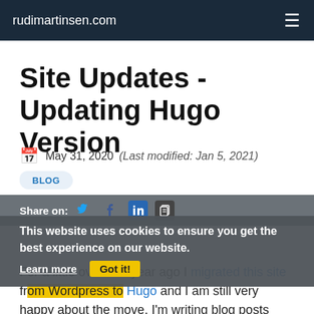rudimartinsen.com
Site Updates - Updating Hugo Version
May 31, 2020  (Last modified: Jan 5, 2021)  HUGO
BLOG
Share on:
This website uses cookies to ensure you get the best experience on our website. Learn more  Got it!
For a little over one year ago I migrated this site from Wordpress to Hugo and I am still very happy about the move. I'm writing blog posts with Markdown in VS Code, verify it on my local Hugo installation on my laptop and when I'm happy I can